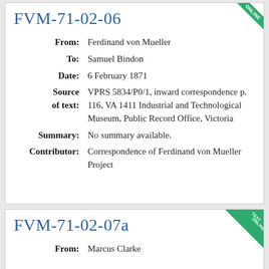FVM-71-02-06
| From: | Ferdinand von Mueller |
| To: | Samuel Bindon |
| Date: | 6 February 1871 |
| Source of text: | VPRS 5834/P0/1, inward correspondence p. 116, VA 1411 Industrial and Technological Museum, Public Record Office, Victoria |
| Summary: | No summary available. |
| Contributor: | Correspondence of Ferdinand von Mueller Project |
FVM-71-02-07a
| From: | Marcus Clarke |